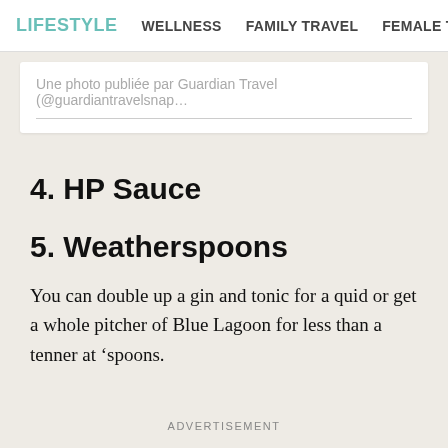LIFESTYLE  WELLNESS  FAMILY TRAVEL  FEMALE TRAV
Une photo publiée par Guardian Travel (@guardiantravelsnap...
4. HP Sauce
5. Weatherspoons
You can double up a gin and tonic for a quid or get a whole pitcher of Blue Lagoon for less than a tenner at ‘spoons.
ADVERTISEMENT